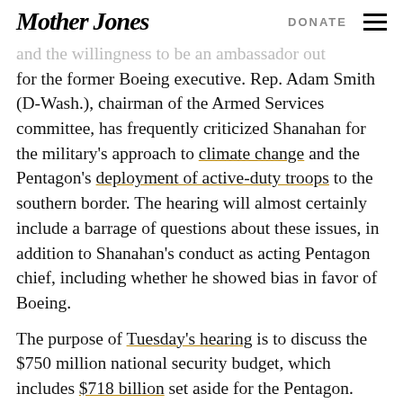Mother Jones | DONATE
…and the willingness to be an ambassador out for the former Boeing executive. Rep. Adam Smith (D-Wash.), chairman of the Armed Services committee, has frequently criticized Shanahan for the military's approach to climate change and the Pentagon's deployment of active-duty troops to the southern border. The hearing will almost certainly include a barrage of questions about these issues, in addition to Shanahan's conduct as acting Pentagon chief, including whether he showed bias in favor of Boeing.
The purpose of Tuesday's hearing is to discuss the $750 million national security budget, which includes $718 billion set aside for the Pentagon.